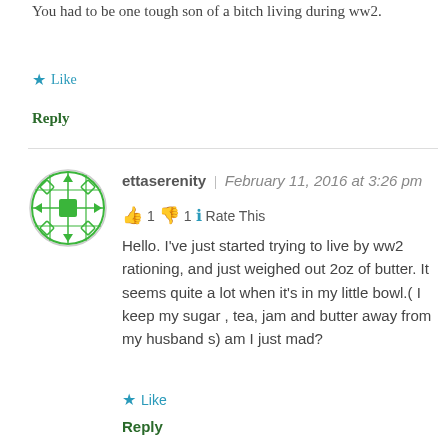You had to be one tough son of a bitch living during ww2.
★ Like
Reply
ettaserenity | February 11, 2016 at 3:26 pm
👍 1 👎 1 ℹ Rate This
Hello. I've just started trying to live by ww2 rationing, and just weighed out 2oz of butter. It seems quite a lot when it's in my little bowl.( I keep my sugar , tea, jam and butter away from my husband s) am I just mad?
★ Like
Reply